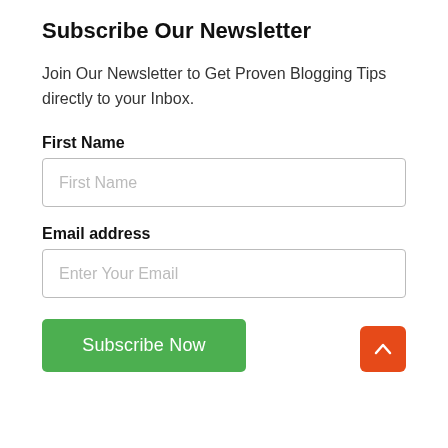Subscribe Our Newsletter
Join Our Newsletter to Get Proven Blogging Tips directly to your Inbox.
First Name
First Name
Email address
Enter Your Email
Subscribe Now